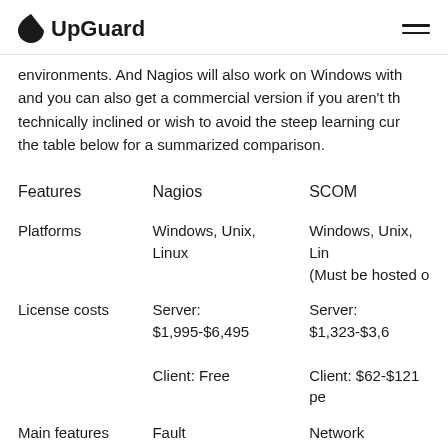UpGuard
environments. And Nagios will also work on Windows with and you can also get a commercial version if you aren't th technically inclined or wish to avoid the steep learning cur the table below for a summarized comparison.
| Features | Nagios | SCOM |
| --- | --- | --- |
| Platforms | Windows, Unix, Linux | Windows, Unix, Lin (Must be hosted o |
| License costs | Server: $1,995-$6,495
Client: Free | Server: $1,323-$3,6
Client: $62-$121 pe |
| Main features lacking in the other | Fault management & correction
Error correction | Network provisioni
Excellent Windows |